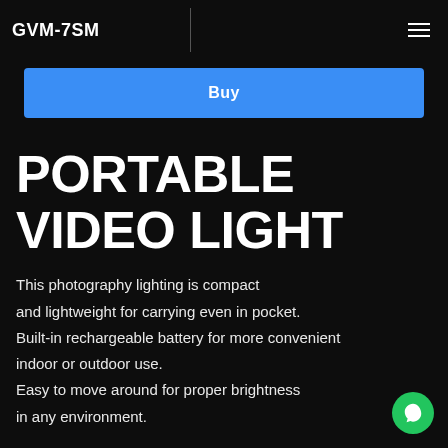GVM-7SM
Buy
PORTABLE VIDEO LIGHT
This photography lighting is compact and lightweight for carrying even in pocket. Built-in rechargeable battery for more convenient indoor or outdoor use. Easy to move around for proper brightness in any environment.